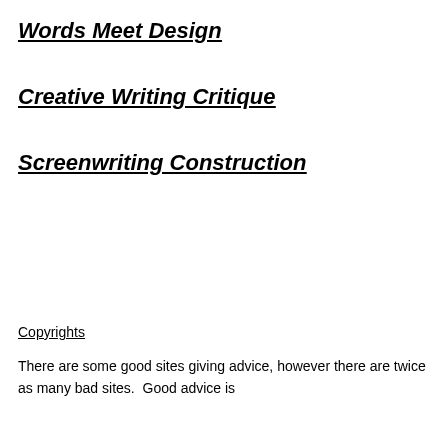Words Meet Design
Creative Writing Critique
Screenwriting Construction
Copyrights
There are some good sites giving advice, however there are twice as many bad sites.  Good advice is